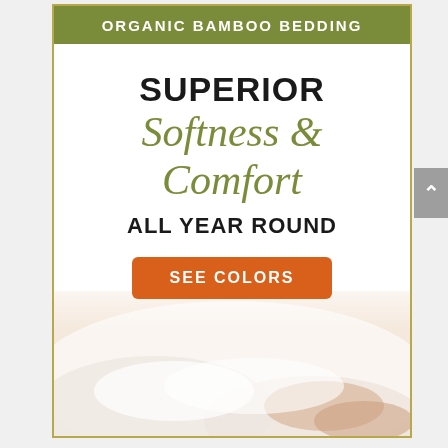ORGANIC BAMBOO BEDDING
SUPERIOR
Softness & Comfort
ALL YEAR ROUND
SEE COLORS
[Figure (photo): Person resting on white bedding, soft warm photo background for bamboo bedding advertisement]
^